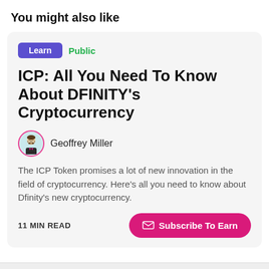You might also like
ICP: All You Need To Know About DFINITY's Cryptocurrency
Geoffrey Miller
The ICP Token promises a lot of new innovation in the field of cryptocurrency. Here's all you need to know about Dfinity's new cryptocurrency.
11 MIN READ